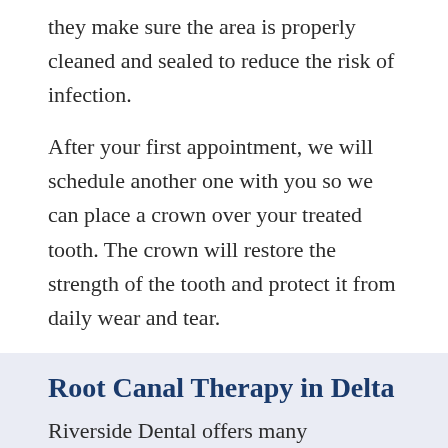they make sure the area is properly cleaned and sealed to reduce the risk of infection.
After your first appointment, we will schedule another one with you so we can place a crown over your treated tooth. The crown will restore the strength of the tooth and protect it from daily wear and tear.
Root Canal Therapy in Delta
Riverside Dental offers many restorative procedures, including crowns, bridges, fillings, and root canal